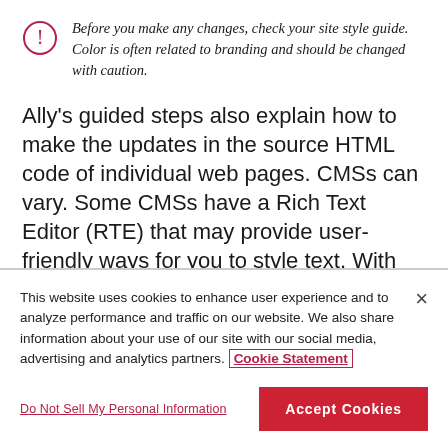Before you make any changes, check your site style guide. Color is often related to branding and should be changed with caution.
Ally's guided steps also explain how to make the updates in the source HTML code of individual web pages. CMSs can vary. Some CMSs have a Rich Text Editor (RTE) that may provide user-friendly ways for you to style text. With RTEs you can pick the preset style for headings, colors, fonts, images
This website uses cookies to enhance user experience and to analyze performance and traffic on our website. We also share information about your use of our site with our social media, advertising and analytics partners. Cookie Statement
Do Not Sell My Personal Information
Accept Cookies